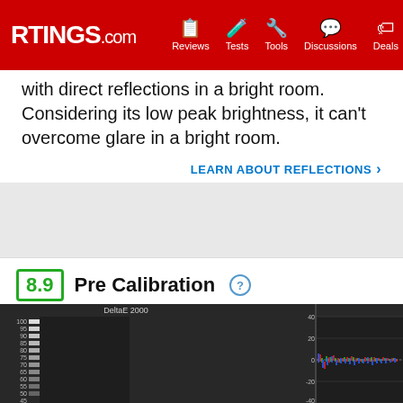RTINGS.com | Reviews | Tests | Tools | Discussions | Deals
with direct reflections in a bright room. Considering its low peak brightness, it can't overcome glare in a bright room.
LEARN ABOUT REFLECTIONS
8.9 Pre Calibration
[Figure (continuous-plot): DeltaE 2000 bar chart on left with grayscale swatches from 100 to 5, and RGB Balance line chart on right showing R/G/B deviation values ranging from -40 to 40, clustered near 0]